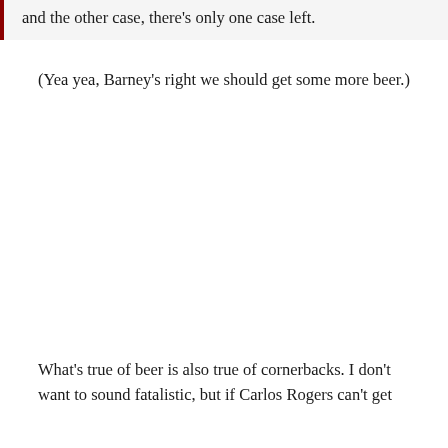and the other case, there's only one case left.
(Yea yea, Barney's right we should get some more beer.)
What's true of beer is also true of cornerbacks. I don't want to sound fatalistic, but if Carlos Rogers can't get